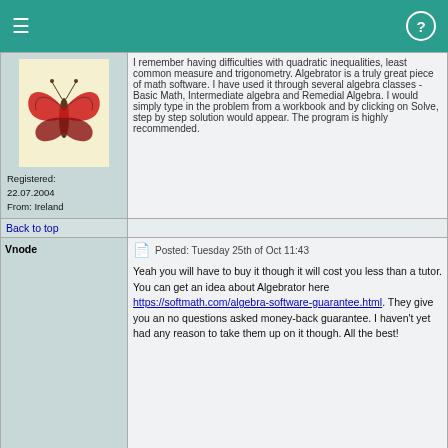I remember having difficulties with quadratic inequalities, least common measure and trigonometry. Algebrator is a truly great piece of math software. I have used it through several algebra classes - Basic Math, Intermediate algebra and Remedial Algebra. I would simply type in the problem from a workbook and by clicking on Solve, step by step solution would appear. The program is highly recommended.
Registered: 22.07.2004 From: Ireland
Back to top
Vnode
Posted: Tuesday 25th of Oct 11:43
Yeah you will have to buy it though it will cost you less than a tutor. You can get an idea about Algebrator here https://softmath.com/algebra-software-guarantee.html. They give you an no questions asked money-back guarantee. I haven't yet had any reason to take them up on it though. All the best!
Registered: 27.09.2001 From: Germany
Back to top
Register